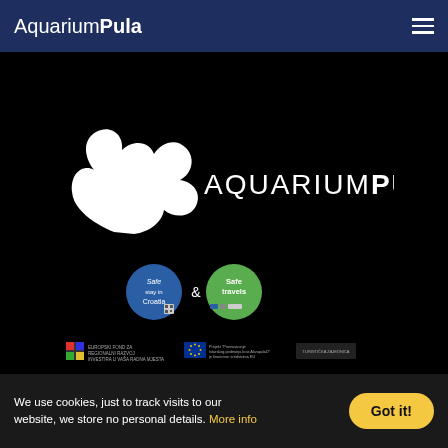AquariumPula
[Figure (logo): Aquarium Pula logo on black background: stylized white seahorse/flame shape on the left, text 'AQUARIUMPULA' in large white letters on the right. Below the main logo are two safety certification badges: 'Safe Croatia' (blue circle) and 'Safe travels' (green circle) with an ampersand between them. Below those are EU funding logos with small text.]
We use cookies, just to track visits to our website, we store no personal details. More info